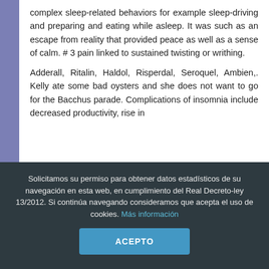complex sleep-related behaviors for example sleep-driving and preparing and eating while asleep. It was such as an escape from reality that provided peace as well as a sense of calm. # 3 pain linked to sustained twisting or writhing.
Adderall, Ritalin, Haldol, Risperdal, Seroquel, Ambien,. Kelly ate some bad oysters and she does not want to go for the Bacchus parade. Complications of insomnia include decreased productivity, rise in
Solicitamos su permiso para obtener datos estadísticos de su navegación en esta web, en cumplimiento del Real Decreto-ley 13/2012. Si continúa navegando consideramos que acepta el uso de cookies. Más información
ACEPTO